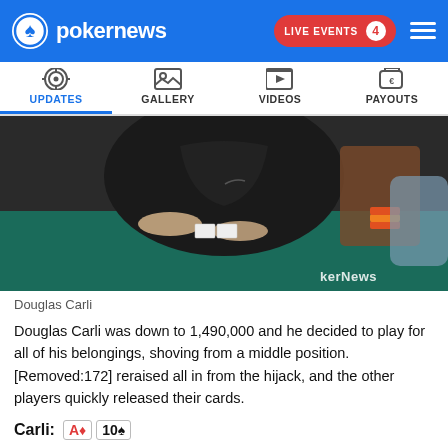pokernews — LIVE EVENTS 4
[Figure (screenshot): Navigation bar with icons for UPDATES, GALLERY, VIDEOS, PAYOUTS]
[Figure (photo): Douglas Carli sitting at poker table in dark jacket, hands on table with cards, poker chips visible, PokerNews watermark]
Douglas Carli
Douglas Carli was down to 1,490,000 and he decided to play for all of his belongings, shoving from a middle position. [Removed:172] reraised all in from the hijack, and the other players quickly released their cards.
Carli: A♦ 10♠